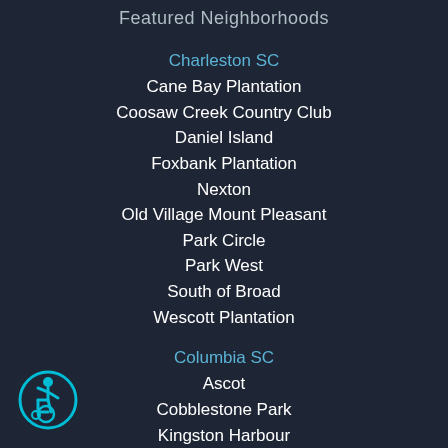Featured Neighborhoods
Charleston SC
Cane Bay Plantation
Coosaw Creek Country Club
Daniel Island
Foxbank Plantation
Nexton
Old Village Mount Pleasant
Park Circle
Park West
South of Broad
Wescott Plantation
Columbia SC
Ascot
Cobblestone Park
Kingston Harbour
Lake Carolina
[Figure (illustration): Accessibility icon — wheelchair user symbol in cyan on dark circle outline]